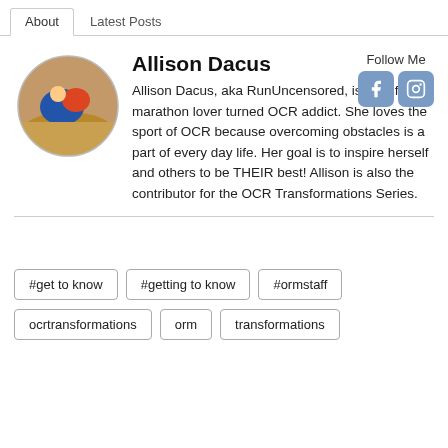About | Latest Posts
[Figure (photo): Oval profile photo of Allison Dacus showing a person outdoors in athletic gear]
Allison Dacus
Follow Me
Allison Dacus, aka RunUncensored, is a half marathon lover turned OCR addict. She loves the sport of OCR because overcoming obstacles is a part of every day life. Her goal is to inspire herself and others to be THEIR best! Allison is also the contributor for the OCR Transformations Series.
#get to know
#getting to know
#ormstaff
ocrtransformations
orm
transformations